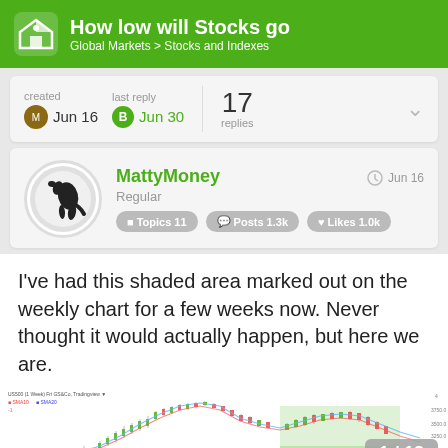How low will Stocks go — Global Markets > Stocks and Indexes
created Jun 16   last reply Jun 30   17 replies
MattyMoney — Regular — Topics 11 — Posts 1.3k — Likes 1.0k — Jun 16
I've had this shaded area marked out on the weekly chart for a few weeks now. Never thought it would actually happen, but here we are.
[Figure (screenshot): Partial view of a financial candlestick chart showing stock price movements with a shaded area, page indicator 1/18 in bottom right.]